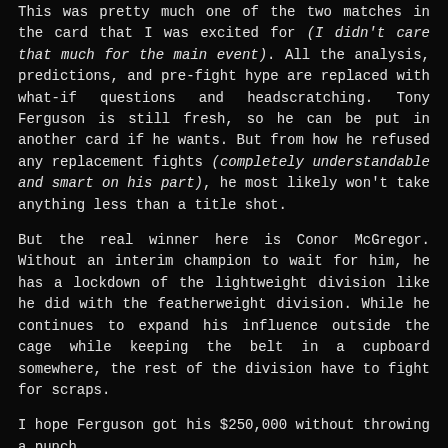This was pretty much one of the two matches in the card that I was excited for (I didn't care that much for the main event). All the analysis, predictions, and pre-fight hype are replaced with what-if questions and headscratching. Tony Ferguson is still fresh, so he can be put in another card if he wants. But from how he refused any replacement fights (completely understandable and smart on his part), he most likely won't take anything less than a title shot.
But the real winner here is Conor McGregor. Without an interim champion to wait for him, he has a lockdown of the lightweight division like he did with the featherweight division. While he continues to expand his influence outside the cage while keeping the belt in a cupboard somewhere, the rest of the division have to fight for scraps.
I hope Ferguson got his $250,000 without throwing a punch.
DAVID TEYMUR VS. LANDO VANNATA
This is a fairly competitive fight between two lightweights.